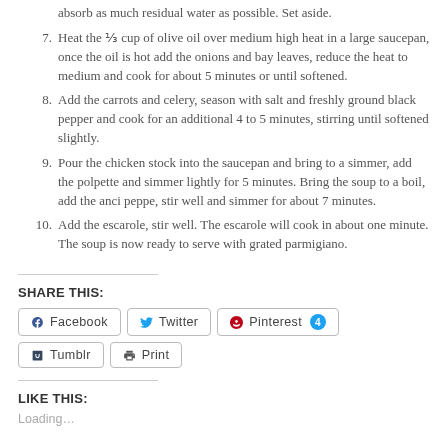absorb as much residual water as possible. Set aside.
7. Heat the ⅓ cup of olive oil over medium high heat in a large saucepan, once the oil is hot add the onions and bay leaves, reduce the heat to medium and cook for about 5 minutes or until softened.
8. Add the carrots and celery, season with salt and freshly ground black pepper and cook for an additional 4 to 5 minutes, stirring until softened slightly.
9. Pour the chicken stock into the saucepan and bring to a simmer, add the polpette and simmer lightly for 5 minutes. Bring the soup to a boil, add the anci peppe, stir well and simmer for about 7 minutes.
10. Add the escarole, stir well. The escarole will cook in about one minute. The soup is now ready to serve with grated parmigiano.
SHARE THIS:
Facebook, Twitter, Pinterest 4, Tumblr, Print
LIKE THIS:
Loading...